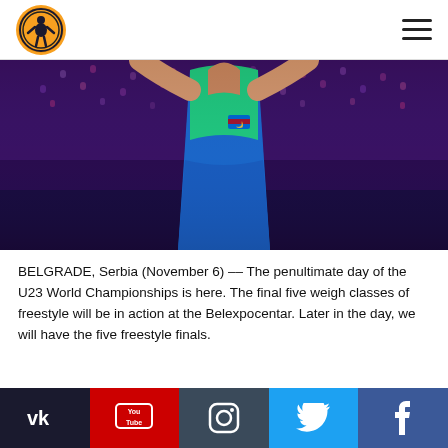UWW logo and navigation
[Figure (photo): Wrestler in blue and green singlet with arms raised celebrating at Belexpocentar arena, crowd visible in background]
BELGRADE, Serbia (November 6) -- The penultimate day of the U23 World Championships is here. The final five weigh classes of freestyle will be in action at the Belexpocentar. Later in the day, we will have the five freestyle finals.
MATCH ORDER | WATCH LIVE
Social media links: VK, YouTube, Instagram, Twitter, Facebook